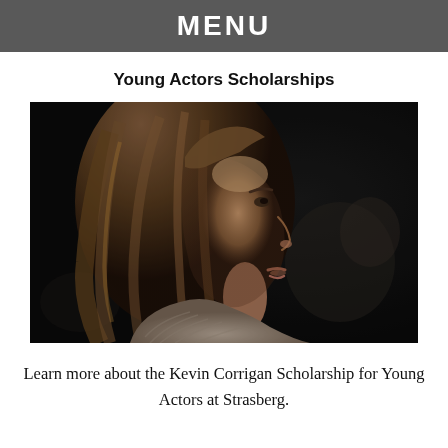MENU
Young Actors Scholarships
[Figure (photo): Side profile of a young woman with long brown hair, wearing a ribbed cream sweater, looking to the right against a dark background with soft bokeh lighting.]
Learn more about the Kevin Corrigan Scholarship for Young Actors at Strasberg.